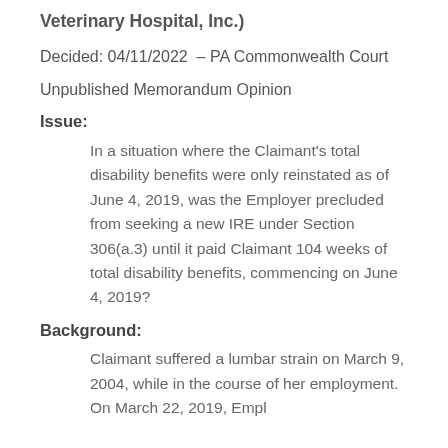Veterinary Hospital, Inc.)
Decided: 04/11/2022  – PA Commonwealth Court
Unpublished Memorandum Opinion
Issue:
In a situation where the Claimant's total disability benefits were only reinstated as of June 4, 2019, was the Employer precluded from seeking a new IRE under Section 306(a.3) until it paid Claimant 104 weeks of total disability benefits, commencing on June 4, 2019?
Background:
Claimant suffered a lumbar strain on March 9, 2004, while in the course of her employment. On March 22, 2019, Empl…